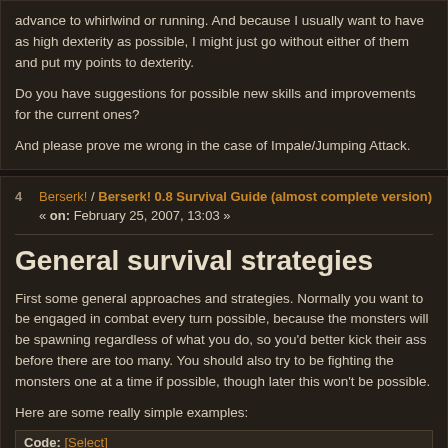advance to whirlwind or running. And because I usually want to have as high dexterity as possible, I might just go without either of them and put my points to dexterity.
Do you have suggestions for possible new skills and improvements for the current ones?
And please prove me wrong in the case of Impale/Jumping Attack.
4 Berserk! / Berserk! 0.8 Survival Guide (almost complete version) « on: February 25, 2007, 13:03 »
General survival strategies
First some general approaches and strategies. Normally you want to be engaged in combat every turn possible, because the monsters will be spawning regardless of what you do, so you'd better kick their ass before there are too many. You should also try to be fighting the monsters one at a time if possible, though later this won't be possible.
Here are some really simple examples:
Code: [Select]
. . . . . . .
. . .b. . .
. . . . . . .
.b.@. . .